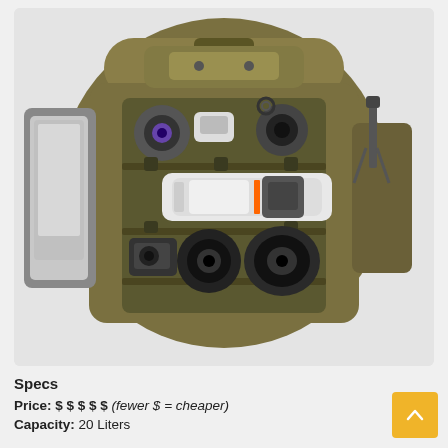[Figure (photo): Top-down open view of an olive/khaki waxed canvas camera backpack packed with camera gear: multiple lenses, a camera body, a long white telephoto lens, and a laptop visible in a side pocket. Divisors/compartments with padded sections are visible.]
Specs
Price: $ $ $ $ $ (fewer $ = cheaper)
Capacity: 20 Liters